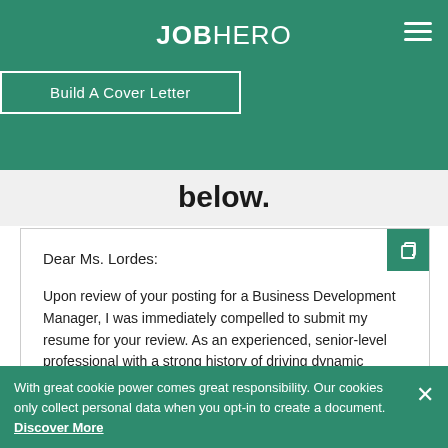JOBHERO
Build A Cover Letter
below.
Dear Ms. Lordes:

Upon review of your posting for a Business Development Manager, I was immediately compelled to submit my resume for your review. As an experienced, senior-level professional with a strong history of driving dynamic product sales, managing client relationships, and substantially increasing
With great cookie power comes great responsibility. Our cookies only collect personal data when you opt-in to create a document. Discover More